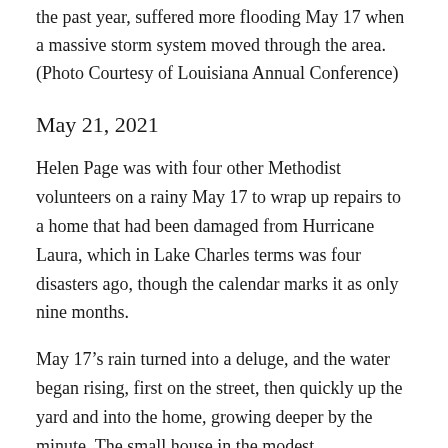the past year, suffered more flooding May 17 when a massive storm system moved through the area. (Photo Courtesy of Louisiana Annual Conference)
May 21, 2021
Helen Page was with four other Methodist volunteers on a rainy May 17 to wrap up repairs to a home that had been damaged from Hurricane Laura, which in Lake Charles terms was four disasters ago, though the calendar marks it as only nine months.
May 17’s rain turned into a deluge, and the water began rising, first on the street, then quickly up the yard and into the home, growing deeper by the minute. The small house in the modest